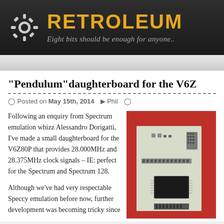RETROLEUM — Eight bits should be enough for anyone..
"Pendulum"daughterboard for the V6Z...
Posted on May 15th, 2014  Phil
Following an enquiry from Spectrum emulation whizz Alessandro Dorigatti, I've made a small daughterboard for the V6Z80P that provides 28.000MHz and 28.375MHz clock signals – IE: perfect for the Spectrum and Spectrum 128.
Although we've had very respectable Speccy emulation before now, further development was becoming tricky since
[Figure (photo): Close-up photo of a small PCB daughterboard with electronic components including ICs and connectors, placed on a red surface.]